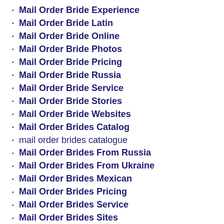Mail Order Bride Experience
Mail Order Bride Latin
Mail Order Bride Online
Mail Order Bride Photos
Mail Order Bride Pricing
Mail Order Bride Russia
Mail Order Bride Service
Mail Order Bride Stories
Mail Order Bride Websites
Mail Order Brides Catalog
mail order brides catalogue
Mail Order Brides From Russia
Mail Order Brides From Ukraine
Mail Order Brides Mexican
Mail Order Brides Pricing
Mail Order Brides Service
Mail Order Brides Sites
Mail Order Brides Tips
Mail Order Brides Ukraine
Mail Order Korean Wives
Mail Order Latin